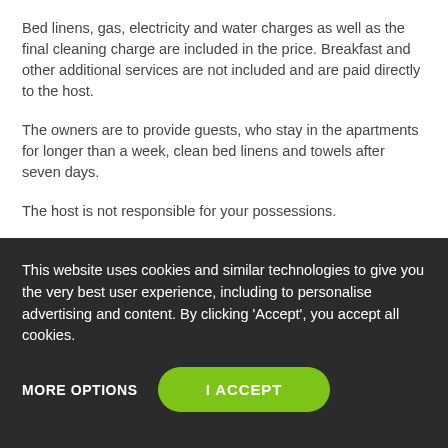Bed linens, gas, electricity and water charges as well as the final cleaning charge are included in the price. Breakfast and other additional services are not included and are paid directly to the host.
The owners are to provide guests, who stay in the apartments for longer than a week, clean bed linens and towels after seven days.
The host is not responsible for your possessions.
Pets are not allowed in the apartments without prior agreement with the owners. Pets are charged extra 5 euros per day. The apartment owner must be notified of all visits.
Guests which are not registered as the guests of the apartment are
This website uses cookies and similar technologies to give you the very best user experience, including to personalise advertising and content. By clicking ‘Accept’, you accept all cookies.
MORE OPTIONS
I ACCEPT